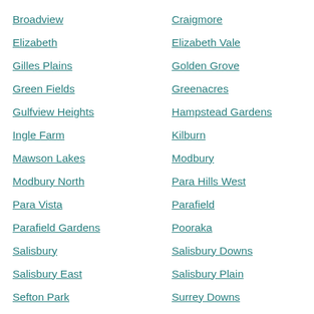Broadview
Craigmore
Elizabeth
Elizabeth Vale
Gilles Plains
Golden Grove
Green Fields
Greenacres
Gulfview Heights
Hampstead Gardens
Ingle Farm
Kilburn
Mawson Lakes
Modbury
Modbury North
Para Hills West
Para Vista
Parafield
Parafield Gardens
Pooraka
Salisbury
Salisbury Downs
Salisbury East
Salisbury Plain
Sefton Park
Surrey Downs